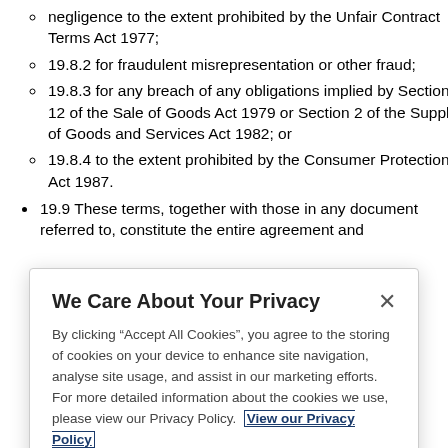negligence to the extent prohibited by the Unfair Contract Terms Act 1977;
19.8.2 for fraudulent misrepresentation or other fraud;
19.8.3 for any breach of any obligations implied by Section 12 of the Sale of Goods Act 1979 or Section 2 of the Supply of Goods and Services Act 1982; or
19.8.4 to the extent prohibited by the Consumer Protection Act 1987.
19.9 These terms, together with those in any document referred to, constitute the entire agreement and
We Care About Your Privacy
By clicking “Accept All Cookies”, you agree to the storing of cookies on your device to enhance site navigation, analyse site usage, and assist in our marketing efforts. For more detailed information about the cookies we use, please view our Privacy Policy. View our Privacy Policy
Cookies Settings
Accept All Cookies